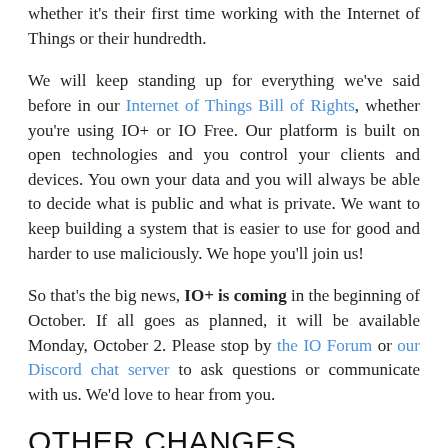whether it's their first time working with the Internet of Things or their hundredth.
We will keep standing up for everything we've said before in our Internet of Things Bill of Rights, whether you're using IO+ or IO Free. Our platform is built on open technologies and you control your clients and devices. You own your data and you will always be able to decide what is public and what is private. We want to keep building a system that is easier to use for good and harder to use maliciously. We hope you'll join us!
So that's the big news, IO+ is coming in the beginning of October. If all goes as planned, it will be available Monday, October 2. Please stop by the IO Forum or our Discord chat server to ask questions or communicate with us. We'd love to hear from you.
OTHER CHANGES
We'll also be launching some changes to the IO